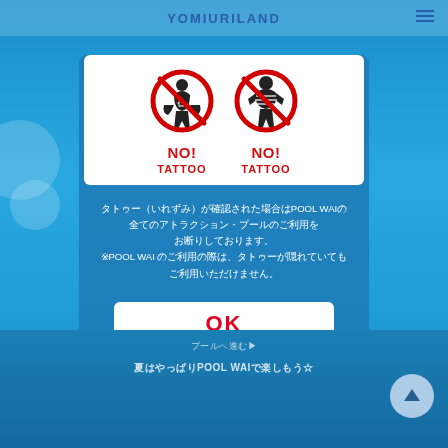YOMIURILAND
[Figure (illustration): Two circular NO TATTOO prohibition signs side by side on white background. Each sign shows a person silhouette with a red circle-slash over it. Below each sign text reads 'NO! TATTOO' in red bold letters.]
タトゥー（いれずみ）が確認された場合はPOOL WAIの 全てのアトラクション・プールのご利用を お断りしております。 ※POOL WAI のご利用の際は、タトゥーが隠れていても ご利用いただけません。
OK
プールへ進む▶
夏はやっぱりPOOL WAIで楽しもう☆